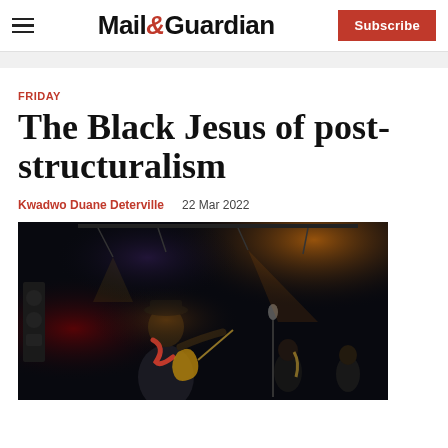Mail&Guardian | Subscribe
FRIDAY
The Black Jesus of post-structuralism
Kwadwo Duane Deterville   22 Mar 2022
[Figure (photo): A performer on stage playing guitar under concert lighting, wearing a dark jacket and red scarf, with band members visible in the background under dramatic stage lights]